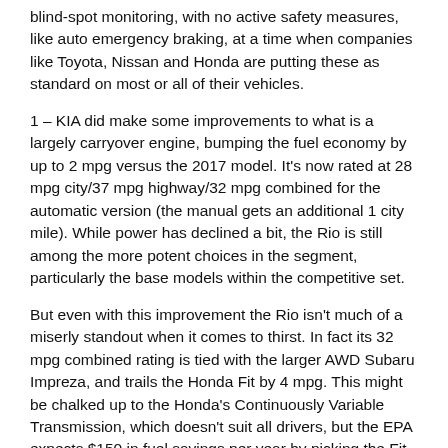blind-spot monitoring, with no active safety measures, like auto emergency braking, at a time when companies like Toyota, Nissan and Honda are putting these as standard on most or all of their vehicles.
1 – KIA did make some improvements to what is a largely carryover engine, bumping the fuel economy by up to 2 mpg versus the 2017 model. It's now rated at 28 mpg city/37 mpg highway/32 mpg combined for the automatic version (the manual gets an additional 1 city mile). While power has declined a bit, the Rio is still among the more potent choices in the segment, particularly the base models within the competitive set.
But even with this improvement the Rio isn't much of a miserly standout when it comes to thirst. In fact its 32 mpg combined rating is tied with the larger AWD Subaru Impreza, and trails the Honda Fit by 4 mpg. This might be chalked up to the Honda's Continuously Variable Transmission, which doesn't suit all drivers, but the EPA expects $150 in fuel savings per year by picking the Fit over the Rio.